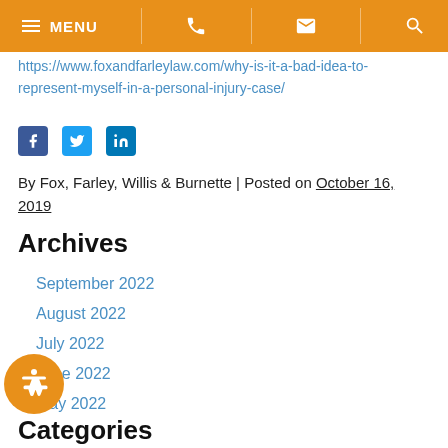MENU [navigation bar with phone, email, search icons]
https://www.foxandfarleylaw.com/why-is-it-a-bad-idea-to-represent-myself-in-a-personal-injury-case/
[Figure (other): Social media share icons: Facebook, Twitter, LinkedIn]
By Fox, Farley, Willis & Burnette | Posted on October 16, 2019
Archives
September 2022
August 2022
July 2022
June 2022
May 2022
Categories